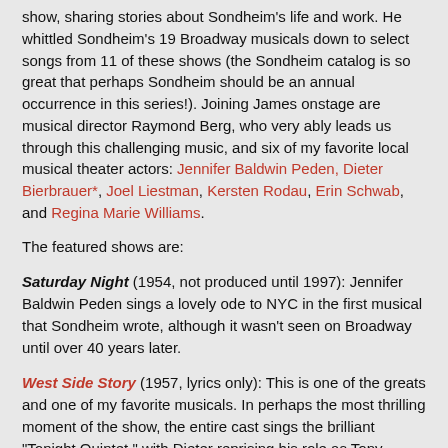show, sharing stories about Sondheim's life and work. He whittled Sondheim's 19 Broadway musicals down to select songs from 11 of these shows (the Sondheim catalog is so great that perhaps Sondheim should be an annual occurrence in this series!). Joining James onstage are musical director Raymond Berg, who very ably leads us through this challenging music, and six of my favorite local musical theater actors: Jennifer Baldwin Peden, Dieter Bierbrauer*, Joel Liestman, Kersten Rodau, Erin Schwab, and Regina Marie Williams.
The featured shows are:
Saturday Night (1954, not produced until 1997): Jennifer Baldwin Peden sings a lovely ode to NYC in the first musical that Sondheim wrote, although it wasn't seen on Broadway until over 40 years later.
West Side Story (1957, lyrics only): This is one of the greats and one of my favorite musicals. In perhaps the most thrilling moment of the show, the entire cast sings the brilliant "Tonight Quintet," with Dieter reprising his role as Tony